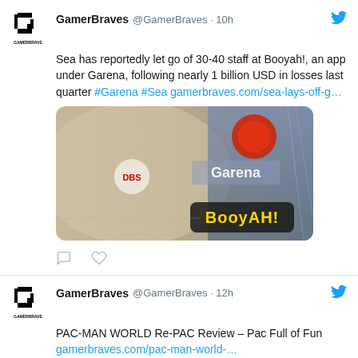GamerBraves @GamerBraves · 10h
Sea has reportedly let go of 30-40 staff at Booyah!, an app under Garena, following nearly 1 billion USD in losses last quarter #Garena #Sea gamerbraves.com/sea-lays-off-g…
[Figure (photo): Garena and Booyah! branded image showing an office lobby with logos]
GamerBraves @GamerBraves · 12h
PAC-MAN WORLD Re-PAC Review – Pac Full of Fun gamerbraves.com/pac-man-world-…